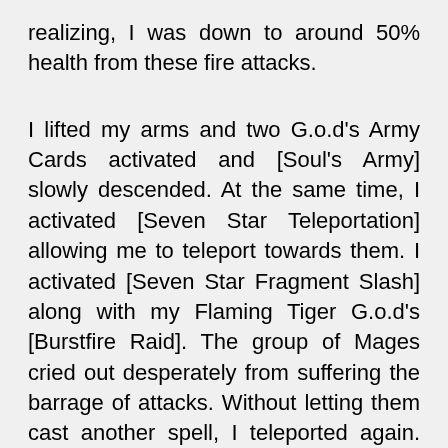realizing, I was down to around 50% health from these fire attacks.
I lifted my arms and two G.o.d's Army Cards activated and [Soul's Army] slowly descended. At the same time, I activated [Seven Star Teleportation] allowing me to teleport towards them. I activated [Seven Star Fragment Slash] along with my Flaming Tiger G.o.d's [Burstfire Raid]. The group of Mages cried out desperately from suffering the barrage of attacks. Without letting them cast another spell, I teleported again. With Flaming Tiger G.o.d's [Flame Armor], we easily killed the group of Mages, not sparing a single one.